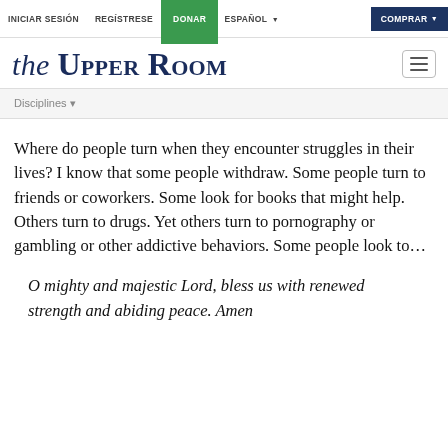INICIAR SESIÓN  REGÍSTRESE  DONAR  ESPAÑOL  COMPRAR
THE UPPER ROOM
Disciplines
Where do people turn when they encounter struggles in their lives? I know that some people withdraw. Some people turn to friends or coworkers. Some look for books that might help. Others turn to drugs. Yet others turn to pornography or gambling or other addictive behaviors. Some people look to...
O mighty and majestic Lord, bless us with renewed strength and abiding peace. Amen